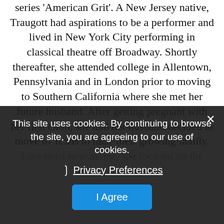series 'American Grit'. A New Jersey native, Traugott had aspirations to be a performer and lived in New York City performing in classical theatre off Broadway. Shortly thereafter, she attended college in Allentown, Pennsylvania and in London prior to moving to Southern California where she met her future husband. After getting pregnant with her first child, she and her husband decided to move to Texas to raise their growing family. Like most new moms, she focused on the... an invitation to her 20th high school reunion, she realized... she needed to take place. She to... maternity leave paycheck of $15... drove to the gym.
This site uses cookies. By continuing to browse the site, you are agreeing to our use of cookies.
Privacy Preferences
I Agree